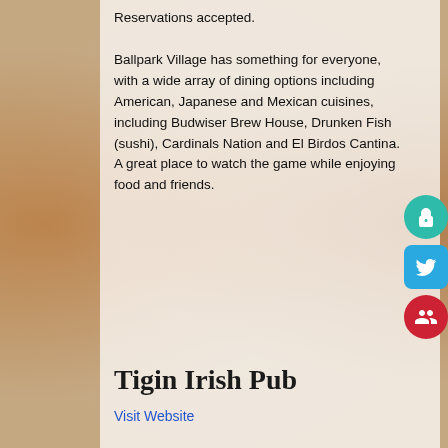Reservations accepted.

Ballpark Village has something for everyone, with a wide array of dining options including American, Japanese and Mexican cuisines, including Budwiser Brew House, Drunken Fish (sushi), Cardinals Nation and El Birdos Cantina. A great place to watch the game while enjoying food and friends.
[Figure (infographic): Three social media icon buttons on right side: teal lock icon (open lock), blue Twitter bird icon, red group/people icon]
Tigin Irish Pub
Visit Website